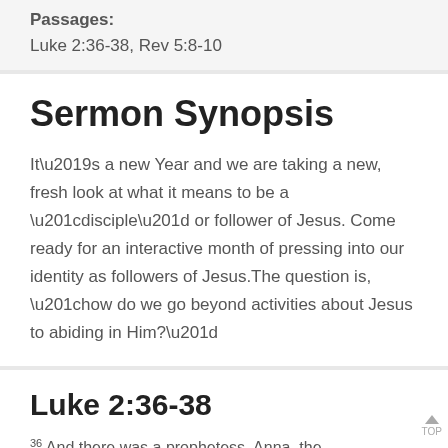Passages:
Luke 2:36-38, Rev 5:8-10
Sermon Synopsis
It’s a new Year and we are taking a new, fresh look at what it means to be a “disciple” or follower of Jesus. Come ready for an interactive month of pressing into our identity as followers of Jesus.The question is, “how do we go beyond activities about Jesus to abiding in Him?”
Luke 2:36-38
36 And there was a prophetess, Anna, the daughter of Phanuel, of the tribe of Asher. She